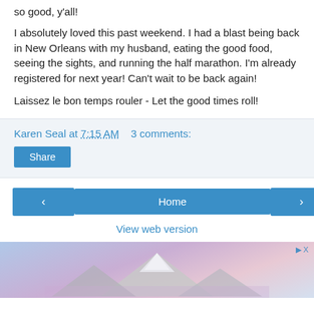so good, y'all!
I absolutely loved this past weekend. I had a blast being back in New Orleans with my husband, eating the good food, seeing the sights, and running the half marathon. I'm already registered for next year! Can't wait to be back again!
Laissez le bon temps rouler - Let the good times roll!
Karen Seal at 7:15 AM   3 comments:
Share
Home
View web version
[Figure (photo): Mountain peak with snow against a blue and purple sky, advertisement banner at bottom of page]